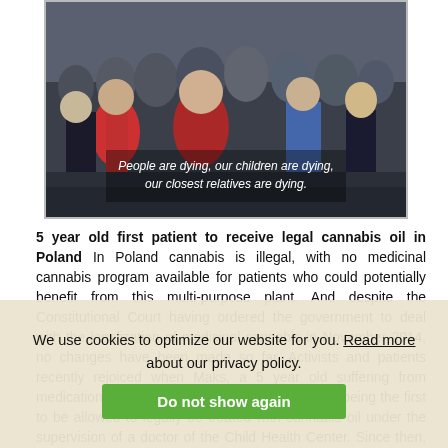[Figure (photo): Outdoor crowd/protest scene with people gathered. A subtitle overlay reads: 'People are dying, our children are dying, our closest relatives are dying.']
5 year old first patient to receive legal cannabis oil in Poland In Poland cannabis is illegal, with no medicinal cannabis program available for patients who could potentially benefit from this multi-purpose plant. And despite the Constitutional Court having ordered the government to deal with the legalization of medicinal cannabis in November 2014, no changes have been made so far. Activists and patients recently rejoiced when Maks, a 5 year old suffering from medication-resistant epilepsy, set a precedent for being the first to be allowed to legally be treated with cannabis oil under the supervision of a doctor of the Child Health Center. Since then, seventeen other young patients for whom conventional medicine does not give any hope, have been given access to medicinal cannabis oil as well. But still a lot of patients led them to start acting on their own started searching for their own sources of medicinal cannabis oil. One of these sources was Jakub Gajewski... years sentence in prison for importing 100gw of cannabis oil to patients, including his two parents. In this latest episode:            Network
We use cookies to optimize our website for you. Read more about our privacy policy.
Do not show again